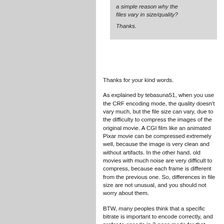a simple reason why the files vary in size/quality?

Thanks.
Thanks for your kind words.
As explained by tebasuna51, when you use the CRF encoding mode, the quality doesn't vary much, but the file size can vary, due to the difficulty to compress the images of the original movie. A CGI film like an animated Pixar movie can be compressed extremely well, because the image is very clean and without artifacts. In the other hand, old movies with much noise are very difficult to compress, because each frame is different from the previous one. So, differences in file size are not unusual, and you should not worry about them.
BTW, many peoples think that a specific bitrate is important to encode correctly, and prefer to encode in 2-pass mode for that reason, but it's totally wrong. Specifying the bitrate (in ABR or even 2-pass modes) imposes a constraint that the encoder